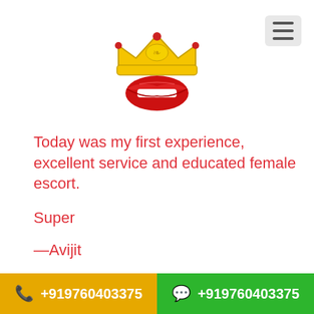[Figure (logo): Crown and red lips logo illustration]
Today was my first experience, excellent service and educated female escort.
Super
—Avijit
This website may contain content of an adult nature. If you are easily offended or are under the age of 18, please exit now. The posts and pages
+919760403375   +919760403375